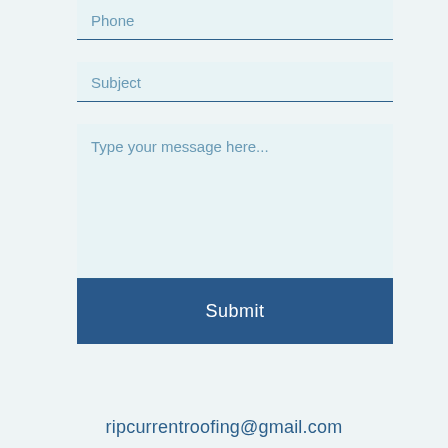Phone
Subject
Type your message here...
Submit
ripcurrentroofing@gmail.com